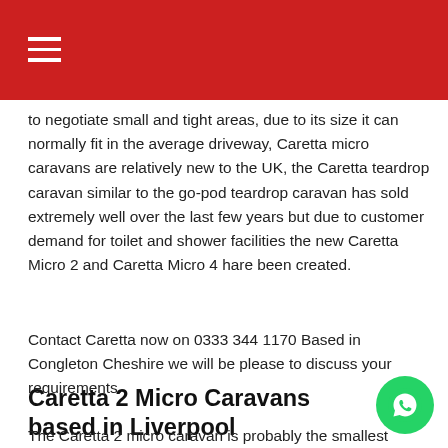to negotiate small and tight areas, due to its size it can normally fit in the average driveway, Caretta micro caravans are relatively new to the UK, the Caretta teardrop caravan similar to the go-pod teardrop caravan has sold extremely well over the last few years but due to customer demand for toilet and shower facilities the new Caretta Micro 2 and Caretta Micro 4 hare been created.
Contact Caretta now on 0333 344 1170 Based in Congleton Cheshire we will be please to discuss your requirements.
Caretta 2 Micro Caravans based in Liverpool
The Caretta 2 micro caravan is probably the smallest lightweight 2 berth micro caravan